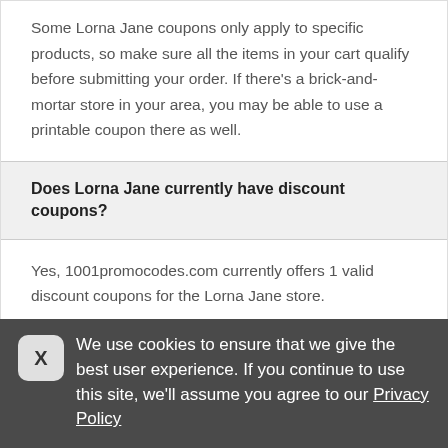Some Lorna Jane coupons only apply to specific products, so make sure all the items in your cart qualify before submitting your order. If there's a brick-and-mortar store in your area, you may be able to use a printable coupon there as well.
Does Lorna Jane currently have discount coupons?
Yes, 1001promocodes.com currently offers 1 valid discount coupons for the Lorna Jane store.
How do I get a coupon code for...
We use cookies to ensure that we give the best user experience. If you continue to use this site, we'll assume you agree to our Privacy Policy